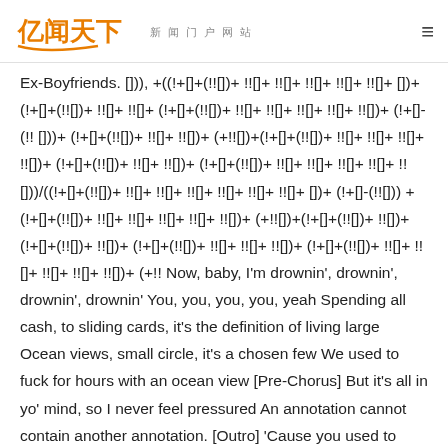亿闻天下 新闻门户网站
Ex-Boyfriends. [])), +((!+[]+(!![])+ !![]+ !![]+ !![]+ !![]+ !![]+ [])+ (!+[]+(!![])+ !![]+ !![]+ (!+[]+(!![])+ !![]+ !![]+ !![]+ !![]+ !![])+ (!+[]-(!! []))+ (!+[]+(!![])+ !![]+ !![])+ (+!![])+(!+[]+(!![])+ !![]+ !![]+ !![]+ !![])+ (!+[]+(!![])+ !![]+ !![])+ (!+[]+(!![])+ !![]+ !![]+ !![]+ !![]+ !![]))/((!+[]+(!![])+ !![]+ !![]+ !![]+ !![]+ !![]+ !![]+ [])+ (!+[]-(!![])) + (!+[]+(!![])+ !![]+ !![]+ !![]+ !![]+ !![])+ (+!![])+(!+[]+(!![])+ !![])+ (!+[]+(!![])+ !![])+ (!+[]+(!![])+ !![]+ !![]+ !![])+ (!+[]+(!![])+ !![]+ !![]+ !![]+ !![]+ !![])+ (+!! Now, baby, I'm drownin', drownin', drownin', drownin' You, you, you, you, yeah Spending all cash, to sliding cards, it's the definition of living large Ocean views, small circle, it's a chosen few We used to fuck for hours with an ocean view [Pre-Chorus] But it's all in yo' mind, so I never feel pressured An annotation cannot contain another annotation. [Outro] 'Cause you used to want it bad